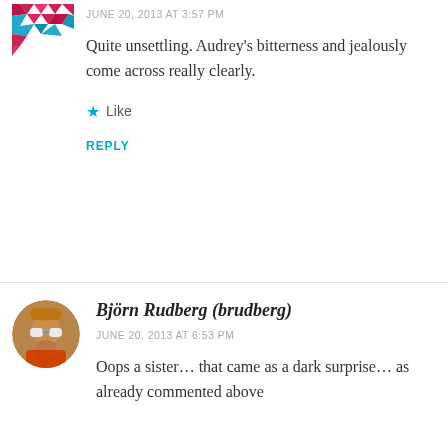[Figure (illustration): Avatar icon with geometric/mosaic pattern in pink and teal colors, partial view at top left]
JUNE 20, 2013 AT 3:57 PM
Quite unsettling. Audrey’s bitterness and jealously come across really clearly.
★ Like
REPLY
[Figure (photo): Circular avatar photo of a person wearing sunglasses and a hat, orange/warm tones]
Björn Rudberg (brudberg)
JUNE 20, 2013 AT 6:53 PM
Oops a sister… that came as a dark surprise… as already commented above